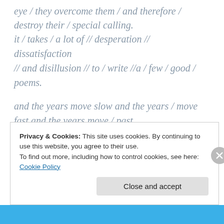eye / they overcome them / and therefore / destroy their / special calling.
it / takes / a lot of // desperation // dissatisfaction // and disillusion // to / write //a / few / good / poems.
and the years move slow and the years / move fast and the years move / past.
you were / nature's / idiot, / not proving but /
Privacy & Cookies: This site uses cookies. By continuing to use this website, you agree to their use.
To find out more, including how to control cookies, see here: Cookie Policy
Close and accept